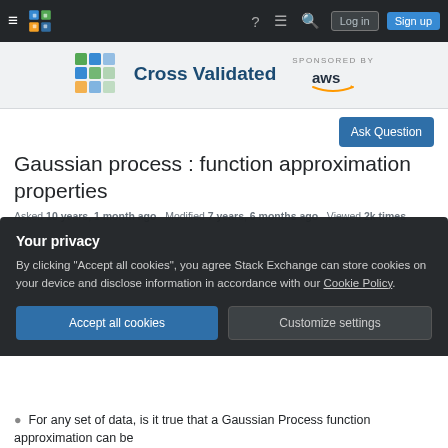Cross Validated — Stack Exchange Q&A site, sponsored by AWS
[Figure (screenshot): Cross Validated Stack Exchange site navigation bar with hamburger menu, site logo, help, chat, search icons, Log in and Sign up buttons]
[Figure (logo): Cross Validated logo with colorful grid icon and text 'Cross Validated', below: SPONSORED BY aws]
Ask Question
Gaussian process : function approximation properties
Asked 10 years, 1 month ago   Modified 7 years, 6 months ago   Viewed 2k times
Your privacy
By clicking "Accept all cookies", you agree Stack Exchange can store cookies on your device and disclose information in accordance with our Cookie Policy.
Accept all cookies   Customize settings
For any set of data, is it true that a Gaussian Process function approximation can be